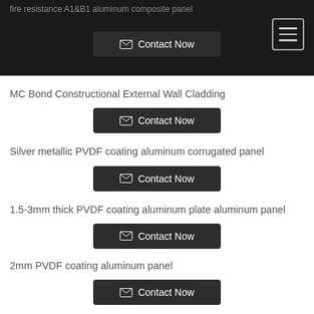fire resistance A1&B1 aluminum composite panel
MC Bond Constructional External Wall Cladding
Silver metallic PVDF coating aluminum corrugated panel
1.5-3mm thick PVDF coating aluminum plate aluminum panel
2mm PVDF coating aluminum panel
Wood grain aluminum composite panel acp panels